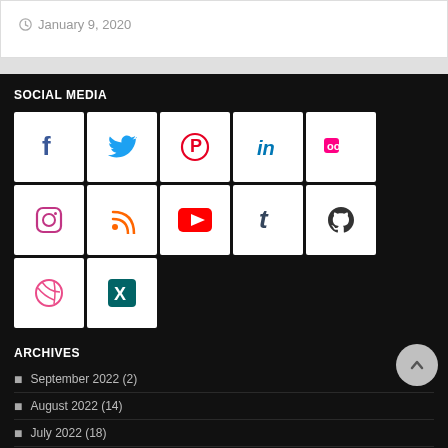January 9, 2020
SOCIAL MEDIA
[Figure (infographic): Social media icons grid: Facebook, Twitter, Pinterest, LinkedIn, Flickr (row 1); Instagram, RSS, YouTube, Tumblr, GitHub (row 2); Dribbble, Xing (row 3)]
ARCHIVES
September 2022 (2)
August 2022 (14)
July 2022 (18)